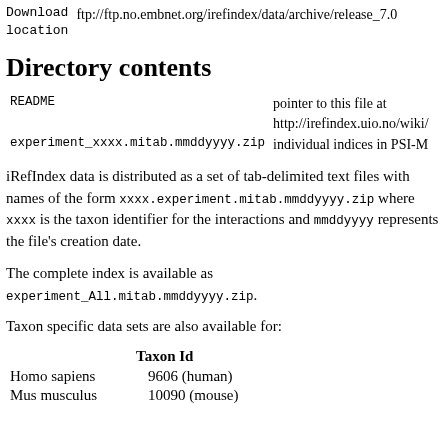Download location   ftp://ftp.no.embnet.org/irefindex/data/archive/release_7.0
Directory contents
|  |  |
| --- | --- |
| README | pointer to this file at http://irefindex.uio.no/wiki/ |
| experiment_xxxx.mitab.mmddyyyy.zip | individual indices in PSI-M |
iRefIndex data is distributed as a set of tab-delimited text files with names of the form xxxx.experiment.mitab.mmddyyyy.zip where xxxx is the taxon identifier for the interactions and mmddyyyy represents the file's creation date.
The complete index is available as experiment_All.mitab.mmddyyyy.zip.
Taxon specific data sets are also available for:
|  | Taxon Id |
| --- | --- |
| Homo sapiens | 9606 (human) |
| Mus musculus | 10090 (mouse) |